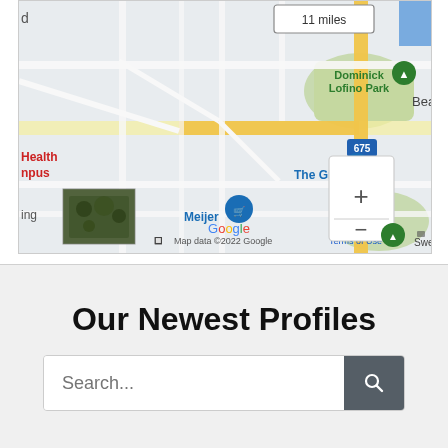[Figure (map): Google Maps screenshot showing an area around Dominick Lofino Park, The Greene, and Meijer in Dayton, Ohio area. Shows route distance of 11 miles. Map data ©2022 Google with Terms of Use label. Includes zoom controls (+/-) and a small satellite thumbnail.]
Our Newest Profiles
Search...